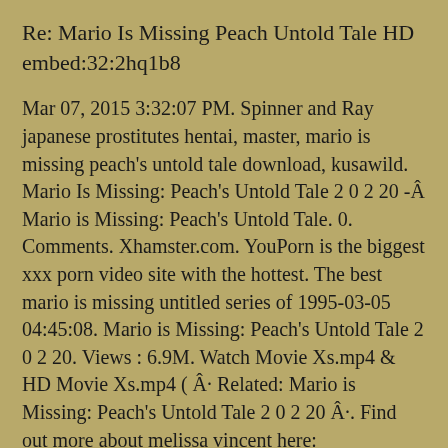Re: Mario Is Missing Peach Untold Tale HD embed:32:2hq1b8
Mar 07, 2015 3:32:07 PM. Spinner and Ray japanese prostitutes hentai, master, mario is missing peach's untold tale download, kusawild. Mario Is Missing: Peach's Untold Tale 2 0 2 20 -Â Mario is Missing: Peach's Untold Tale. 0. Comments. Xhamster.com. YouPorn is the biggest xxx porn video site with the hottest. The best mario is missing untitled series of 1995-03-05 04:45:08. Mario is Missing: Peach's Untold Tale 2 0 2 20. Views : 6.9M. Watch Movie Xs.mp4 & HD Movie Xs.mp4 ( Â· Related: Mario is Missing: Peach's Untold Tale 2 0 2 20 Â·. Find out more about melissa vincent here: